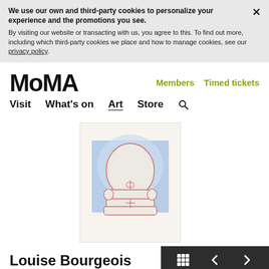We use our own and third-party cookies to personalize your experience and the promotions you see. By visiting our website or transacting with us, you agree to this. To find out more, including which third-party cookies we place and how to manage cookies, see our privacy policy.
MoMA
Members  Timed tickets
Visit  What's on  Art  Store  🔍
[Figure (photo): A drawing/artwork showing an abstract architectural or sculptural form in pink/red lines on a blue and white background, mounted on cream paper.]
Louise Bourgeois